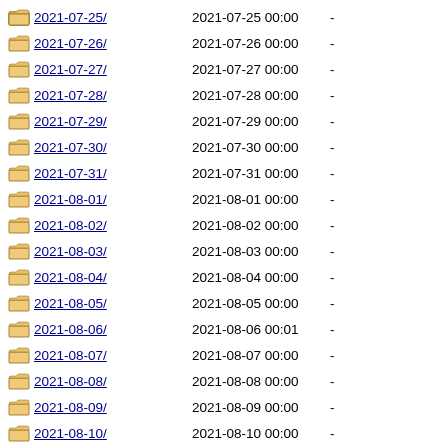2021-07-25/  2021-07-25 00:00  -
2021-07-26/  2021-07-26 00:00  -
2021-07-27/  2021-07-27 00:00  -
2021-07-28/  2021-07-28 00:00  -
2021-07-29/  2021-07-29 00:00  -
2021-07-30/  2021-07-30 00:00  -
2021-07-31/  2021-07-31 00:00  -
2021-08-01/  2021-08-01 00:00  -
2021-08-02/  2021-08-02 00:00  -
2021-08-03/  2021-08-03 00:00  -
2021-08-04/  2021-08-04 00:00  -
2021-08-05/  2021-08-05 00:00  -
2021-08-06/  2021-08-06 00:01  -
2021-08-07/  2021-08-07 00:00  -
2021-08-08/  2021-08-08 00:00  -
2021-08-09/  2021-08-09 00:00  -
2021-08-10/  2021-08-10 00:00  -